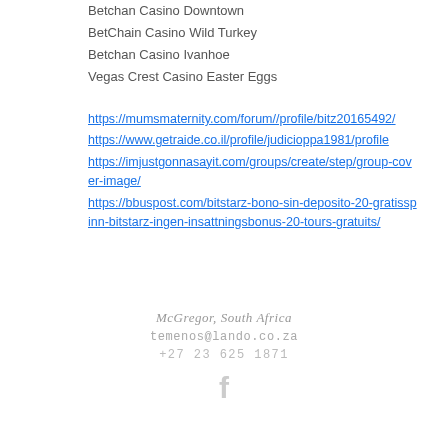Betchan Casino Downtown
BetChain Casino Wild Turkey
Betchan Casino Ivanhoe
Vegas Crest Casino Easter Eggs
https://mumsmaternity.com/forum//profile/bitz20165492/
https://www.getraide.co.il/profile/judicioppa1981/profile
https://imjustgonnasayit.com/groups/create/step/group-cover-image/
https://bbuspost.com/bitstarz-bono-sin-deposito-20-gratisspinn-bitstarz-ingen-insattningsbonus-20-tours-gratuits/
McGregor, South Africa
temenos@lando.co.za
+27 23 625 1871
[Figure (logo): Facebook icon in light gray]